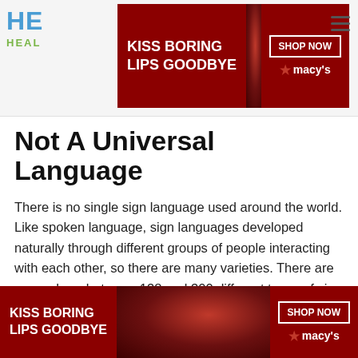[Figure (screenshot): Top navigation bar with partially visible logo ('HE', 'HEAL') and a Macy's advertisement banner showing 'KISS BORING LIPS GOODBYE' with 'SHOP NOW ★macys' on dark red background with woman's face photo. Hamburger menu icon on right.]
Not A Universal Language
There is no single sign language used around the world. Like spoken language, sign languages developed naturally through different groups of people interacting with each other, so there are many varieties. There are somewhere between 138 and 300 different types of sign language used around the globe today.
Interestingly, most countries that share the same spoken language do not necessarily have the same sign language as each other. English for example, has three varieties:
[Figure (screenshot): Bottom Macy's advertisement banner with 'KISS BORING LIPS GOODBYE' text and 'SHOP NOW ★macys' with a CLOSE button overlay. Faded text below the main content shows 'Ameri' and 'Austra' partially visible.]